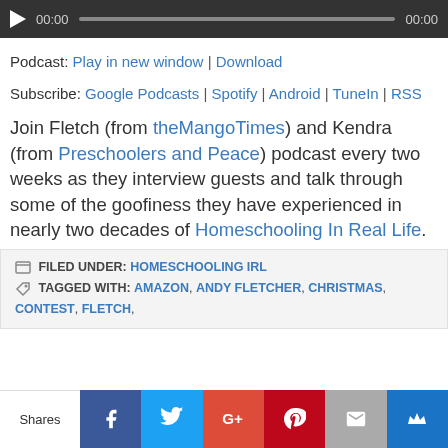[Figure (other): Audio player bar with play button, progress bar, and time stamps 00:00 on both sides]
Podcast: Play in new window | Download
Subscribe: Google Podcasts | Spotify | Android | TuneIn | RSS
Join Fletch (from theMangoTimes) and Kendra (from Preschoolers and Peace) podcast every two weeks as they interview guests and talk through some of the goofiness they have experienced in nearly two decades of Homeschooling In Real Life.
FILED UNDER: HOMESCHOOLING IRL
TAGGED WITH: AMAZON, ANDY FLETCHER, CHRISTMAS, CONTEST, FLETCH,
[Figure (other): Social share bar with buttons: Shares label, Facebook, Twitter, Google+, Pinterest, Email, Crown icon]